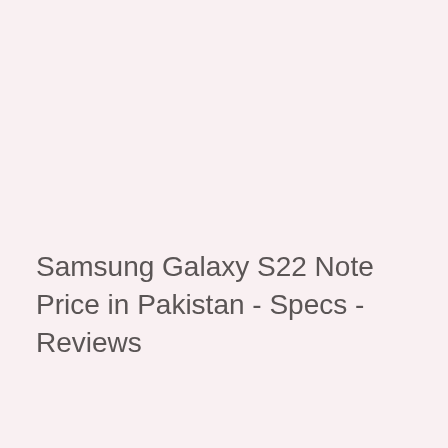Samsung Galaxy S22 Note Price in Pakistan - Specs - Reviews